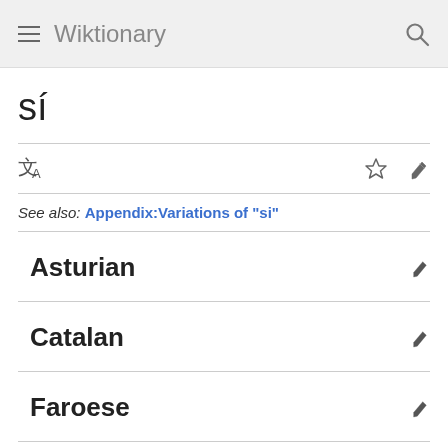Wiktionary
sí
See also: Appendix:Variations of "si"
Asturian
Catalan
Faroese
Hungarian